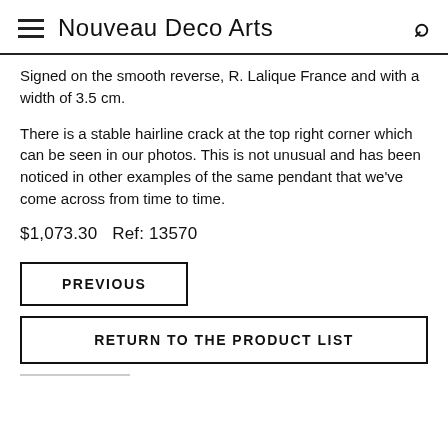Nouveau Deco Arts
Signed on the smooth reverse, R. Lalique France and with a width of 3.5 cm.
There is a stable hairline crack at the top right corner which can be seen in our photos. This is not unusual and has been noticed in other examples of the same pendant that we've come across from time to time.
$1,073.30   Ref: 13570
PREVIOUS
RETURN TO THE PRODUCT LIST